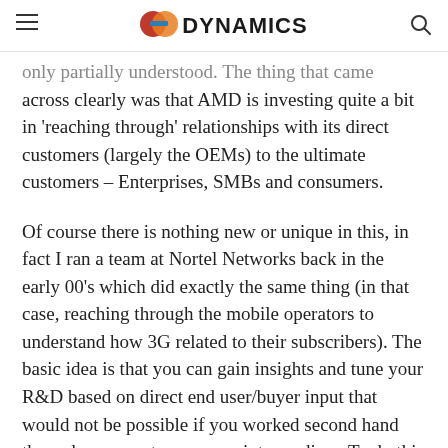DYNAMICS (logo with icon)
only partially understood. The thing that came across clearly was that AMD is investing quite a bit in 'reaching through' relationships with its direct customers (largely the OEMs) to the ultimate customers – Enterprises, SMBs and consumers.

Of course there is nothing new or unique in this, in fact I ran a team at Nortel Networks back in the early 00's which did exactly the same thing (in that case, reaching through the mobile operators to understand how 3G related to their subscribers). The basic idea is that you can gain insights and tune your R&D based on direct end user/buyer input that would not be possible if you worked second hand through your customer as an intermediary. To do this well, however, you really need people who understand that end user environment and the trends that are taking place within it, and that's not necessarily